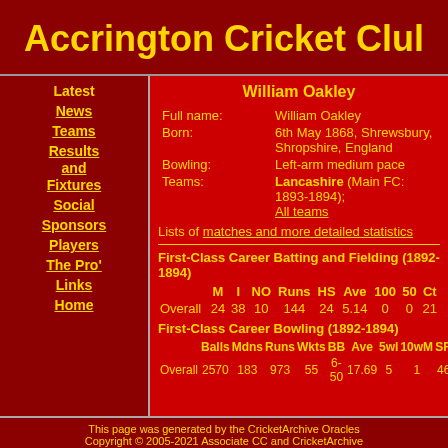Accrington Cricket Club
William Oakley
| Field | Value |
| --- | --- |
| Full name: | William Oakley |
| Born: | 6th May 1868, Shrewsbury, Shropshire, England |
| Bowling: | Left-arm medium pace |
| Teams: | Lancashire (Main FC: 1893-1894); All teams |
Lists of matches and more detailed statistics
First-Class Career Batting and Fielding (1892-1894)
|  | M | I | NO | Runs | HS | Ave | 100 | 50 | Ct |
| --- | --- | --- | --- | --- | --- | --- | --- | --- | --- |
| Overall | 24 | 38 | 10 | 144 | 24 | 5.14 | 0 | 0 | 21 |
First-Class Career Bowling (1892-1894)
|  | Balls | Mdns | Runs | Wkts | BB | Ave | 5wI | 10wM | SRate | Econ |
| --- | --- | --- | --- | --- | --- | --- | --- | --- | --- | --- |
| Overall | 2570 | 183 | 973 | 55 | 6-50 | 17.69 | 5 | 1 | 46.72 | 2.27 |
This page was generated by the CricketArchive Oracles Copyright © 2005-2021 Associate CC and CricketArchive